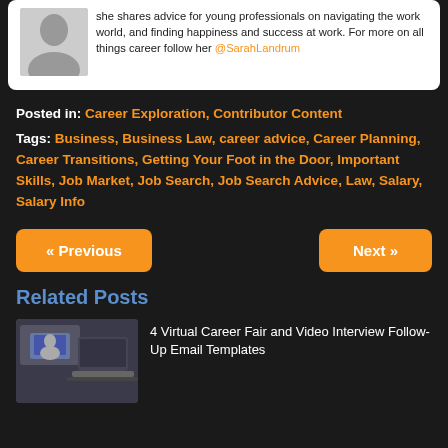she shares advice for young professionals on navigating the work world, and finding happiness and success at work. For more on all things career follow her @SarahLandrum
Posted in: Career Exploration, Contributor Content
Tags: Business, Business Law, career advice, Career Planning, Career Transitions, Getting Your Foot in the Door, Important Skills, Job Market, Job Search, Job Search Advice, Law, Salary, Salary Info
« Previous
Next »
Related Posts
[Figure (photo): Thumbnail image of a virtual career fair video interview screenshot]
4 Virtual Career Fair and Video Interview Follow-Up Email Templates